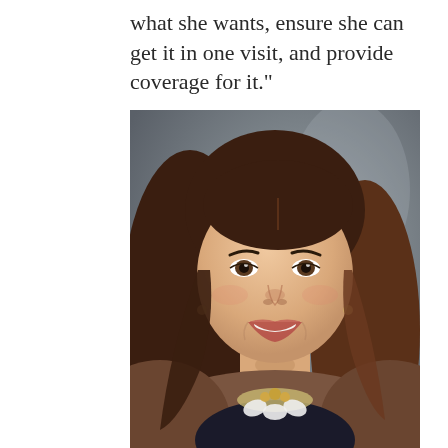what she wants, ensure she can get it in one visit, and provide coverage for it."
[Figure (photo): Professional headshot of a middle-aged woman with long dark brown hair, smiling, wearing a brown blazer over a dark floral top and a decorative floral necklace, photographed against a gray marbled background.]